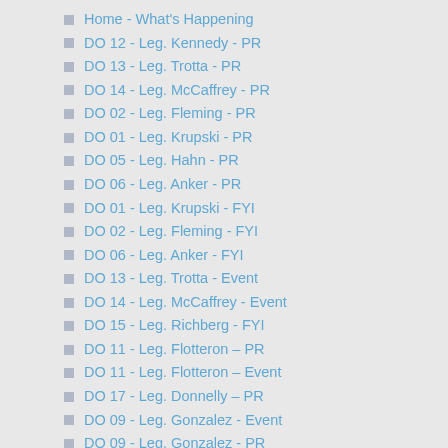Home - What's Happening
DO 12 - Leg. Kennedy - PR
DO 13 - Leg. Trotta - PR
DO 14 - Leg. McCaffrey - PR
DO 02 - Leg. Fleming - PR
DO 01 - Leg. Krupski - PR
DO 05 - Leg. Hahn - PR
DO 06 - Leg. Anker - PR
DO 01 - Leg. Krupski - FYI
DO 02 - Leg. Fleming - FYI
DO 06 - Leg. Anker - FYI
DO 13 - Leg. Trotta - Event
DO 14 - Leg. McCaffrey - Event
DO 15 - Leg. Richberg - FYI
DO 11 - Leg. Flotteron – PR
DO 11 - Leg. Flotteron – Event
DO 17 - Leg. Donnelly – PR
DO 09 - Leg. Gonzalez - Event
DO 09 - Leg. Gonzalez - PR
DO 08 - Leg. Piccirillo - PR
DO 08 - Leg. Piccirillo - Event
DO 15 - Leg. Richberg - PR